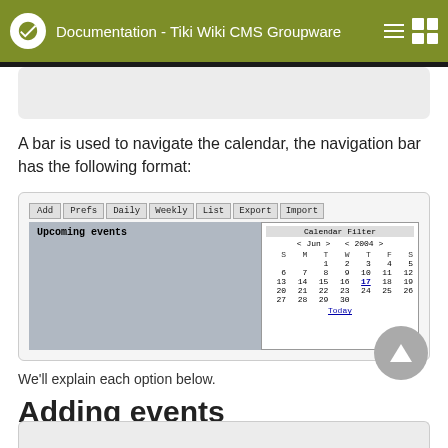Documentation - Tiki Wiki CMS Groupware
A bar is used to navigate the calendar, the navigation bar has the following format:
[Figure (screenshot): Screenshot of Tiki Wiki calendar navigation bar with buttons: Add, Prefs, Daily, Weekly, List, Export, Import. Below shows 'Upcoming events' section and a Calendar Filter panel showing June 2004 calendar with days S M T W T F S and dates 1-30, with a Today link at bottom.]
We'll explain each option below.
Adding events